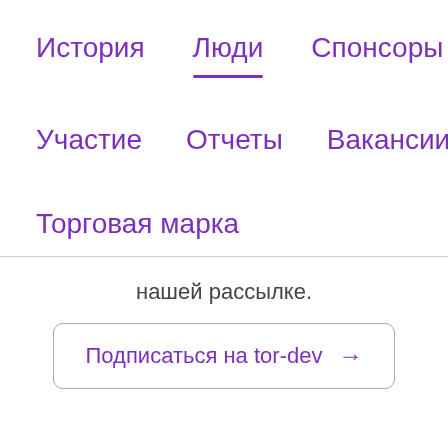История   Люди   Спонсоры
Участие   Отчеты   Вакансии
Торговая марка
нашей рассылке.
Подписаться на tor-dev →